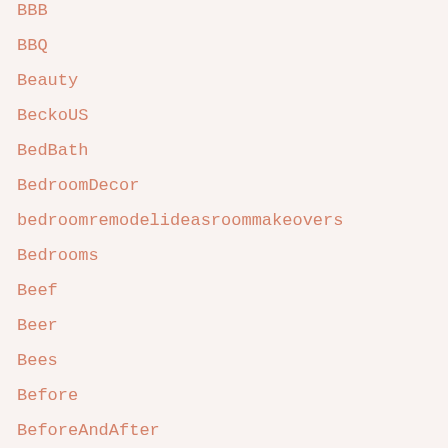BBB
BBQ
Beauty
BeckoUS
BedBath
BedroomDecor
bedroomremodelideasroommakeovers
Bedrooms
Beef
Beer
Bees
Before
BeforeAndAfter
BehindTheDoorStorage
BeignetRecipe